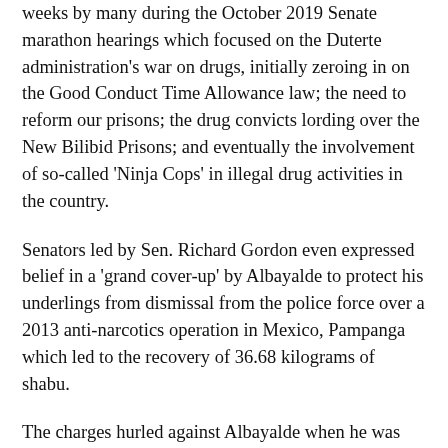weeks by many during the October 2019 Senate marathon hearings which focused on the Duterte administration's war on drugs, initially zeroing in on the Good Conduct Time Allowance law; the need to reform our prisons; the drug convicts lording over the New Bilibid Prisons; and eventually the involvement of so-called 'Ninja Cops' in illegal drug activities in the country.
Senators led by Sen. Richard Gordon even expressed belief in a 'grand cover-up' by Albayalde to protect his underlings from dismissal from the police force over a 2013 anti-narcotics operation in Mexico, Pampanga which led to the recovery of 36.68 kilograms of shabu.
The charges hurled against Albayalde when he was still the Pampanga police director affected the latter so much that on October 15, 2019—or 24 days before his 56th birthday, he